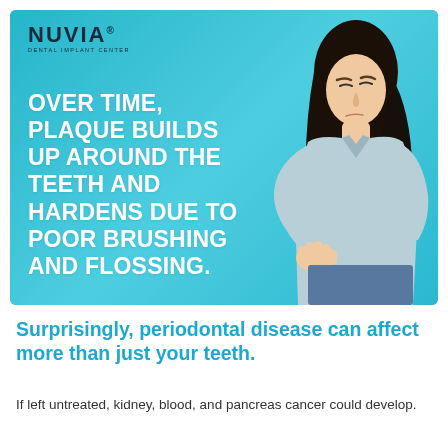[Figure (infographic): Teal/cyan background infographic banner with NUVIA Dental Implant Center logo in top left, large white bold uppercase text reading 'OVER TIME, PLAQUE BUILDS UP AROUND THE TEETH AND HARDENS DUE TO POOR BRUSHING AND FLOSSING.' on the left side, and a photo of a woman in a light blue shirt holding her jaw/cheek in pain on the right side.]
Surprisingly, periodontal disease can affect more than just your teeth.
If left untreated, kidney, blood, and pancreas cancer could develop.